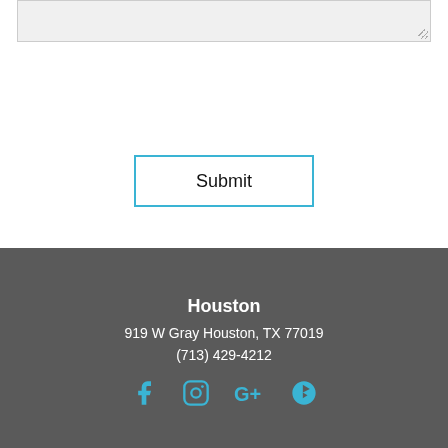[Figure (screenshot): Gray textarea input box with resize handle at bottom-right corner]
Submit
Houston
919 W Gray Houston, TX 77019
(713) 429-4212
[Figure (infographic): Social media icons: Facebook, Instagram, Google+, Yelp in cyan/teal color]